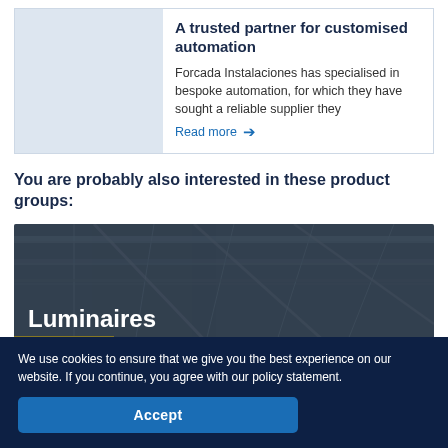[Figure (photo): Light blue placeholder image on the left side of the card for Forcada Instalaciones article]
A trusted partner for customised automation
Forcada Instalaciones has specialised in bespoke automation, for which they have sought a reliable supplier they
Read more →
You are probably also interested in these product groups:
[Figure (photo): Dark industrial ceiling photo with luminaires/lighting, overlaid with white bold text 'Luminaires']
We use cookies to ensure that we give you the best experience on our website. If you continue, you agree with our policy statement.
Accept